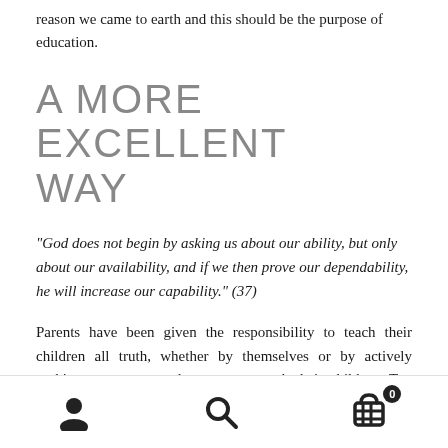reason we came to earth and this should be the purpose of education.
A MORE EXCELLENT WAY
“God does not begin by asking us about our ability, but only about our availability, and if we then prove our dependability, he will increase our capability.” (37)
Parents have been given the responsibility to teach their children all truth, whether by themselves or by actively seeking out someone they trust to teach their children. Too often we assume that all teachers are of high moral character, or have good
user icon | search icon | cart icon with badge 0